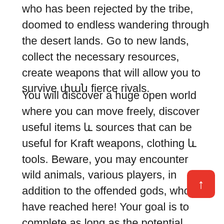who has been rejected by the tribe, doomed to endless wandering through the desert lands. Go to new lands, collect the necessary resources, create weapons that will allow you to survive փան fierce rivals.
You will discover a huge open world where you can move freely, discover useful items և sources that can be useful for Kraft weapons, clothing և tools. Beware, you may encounter wild animals, various players, in addition to the offended gods, who have reached here! Your goal is to complete as long as the potential, gather resources, build a shelter, fight a wide range of enemies. The life of a principled character is hardly at your fingertips. Sport is a well-thought-out Kraft system, which means that you can create unique weapons and equipment, clothing armor օգտակար useful tools for removing springs. Do not forget that the hospital room is a strange person, he